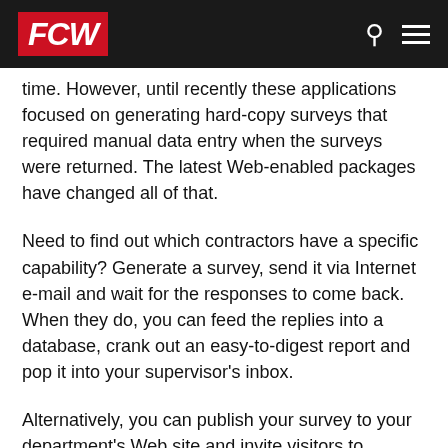FCW
time. However, until recently these applications focused on generating hard-copy surveys that required manual data entry when the surveys were returned. The latest Web-enabled packages have changed all of that.
Need to find out which contractors have a specific capability? Generate a survey, send it via Internet e-mail and wait for the responses to come back. When they do, you can feed the replies into a database, crank out an easy-to-digest report and pop it into your supervisor's inbox.
Alternatively, you can publish your survey to your department's Web site and invite visitors to complete it. Just as with e-mail surveys, the responses can be processed automatically.
In this product comparison, we evaluated three offerings that